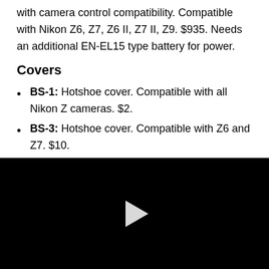with camera control compatibility. Compatible with Nikon Z6, Z7, Z6 II, Z7 II, Z9. $935. Needs an additional EN-EL15 type battery for power.
Covers
BS-1: Hotshoe cover. Compatible with all Nikon Z cameras. $2.
BS-3: Hotshoe cover. Compatible with Z6 and Z7. $10.
[Figure (screenshot): Black video player with a white play button triangle in the center]